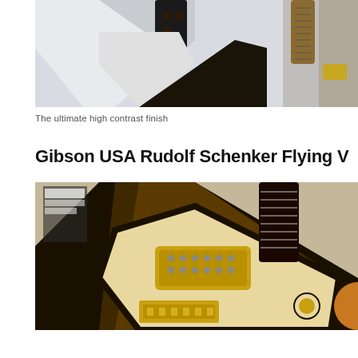[Figure (photo): Electric guitars (including a white Flying V and dark guitars) displayed on a white wall]
The ultimate high contrast finish
Gibson USA Rudolf Schenker Flying V
[Figure (photo): Close-up of a Gibson USA Rudolf Schenker Flying V electric guitar with dark burst finish, cream/gold pickguard, and gold hardware]